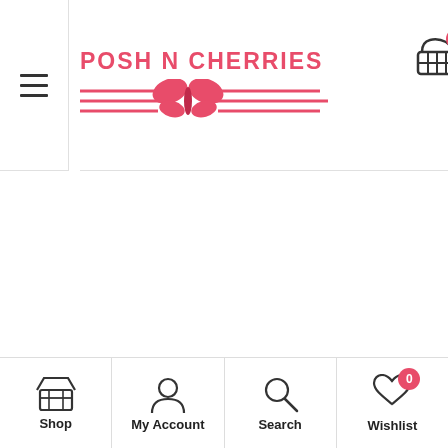[Figure (screenshot): Mobile e-commerce website header for 'Posh N Cherries' with logo (butterfly decoration), hamburger menu, shopping cart with badge showing 0, and vertical text reading 'an email and for other']
Shop | My Account | Search | Wishlist